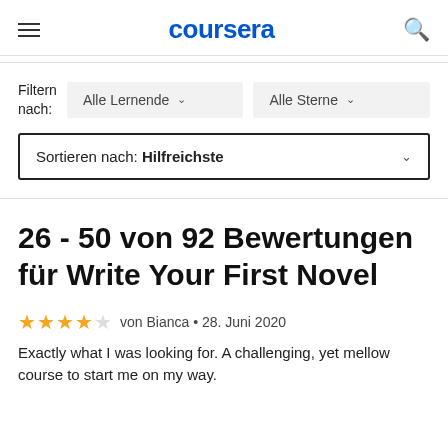coursera
Filtern nach:
Alle Lernende
Alle Sterne
Sortieren nach: Hilfreichste
26 - 50 von 92 Bewertungen für Write Your First Novel
von Bianca • 28. Juni 2020
Exactly what I was looking for. A challenging, yet mellow course to start me on my way.